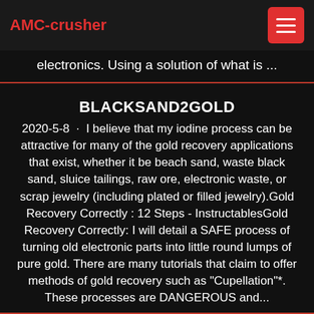AMC-crusher
electronics. Using a solution of what is ...
BLACKSAND2GOLD
2020-5-8 · I believe that my iodine process can be attractive for many of the gold recovery applications that exist, whether it be beach sand, waste black sand, sluice tailings, raw ore, electronic waste, or scrap jewelry (including plated or filled jewelry).Gold Recovery Correctly : 12 Steps - InstructablesGold Recovery Correctly: I will detail a SAFE process of turning old electronic parts into little round lumps of pure gold. There are many tutorials that claim to offer methods of gold recovery such as "Cupellation"*. These processes are DANGEROUS and...